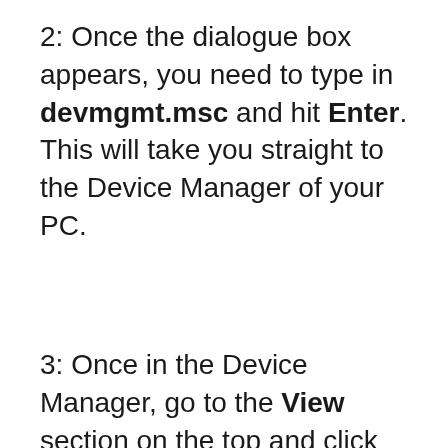2: Once the dialogue box appears, you need to type in devmgmt.msc and hit Enter. This will take you straight to the Device Manager of your PC.
3: Once in the Device Manager, go to the View section on the top and click on Show Hidden Devices.